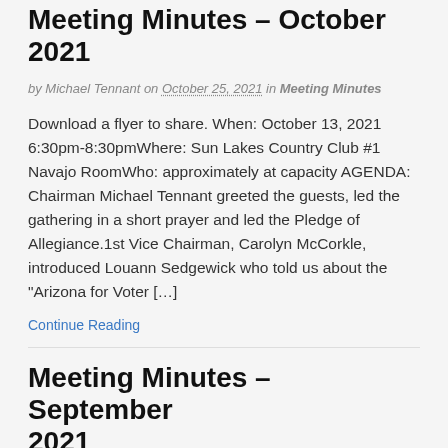Meeting Minutes – October 2021
by Michael Tennant on October 25, 2021 in Meeting Minutes
Download a flyer to share. When: October 13, 2021 6:30pm-8:30pmWhere: Sun Lakes Country Club #1 Navajo RoomWho: approximately at capacity AGENDA: Chairman Michael Tennant greeted the guests, led the gathering in a short prayer and led the Pledge of Allegiance.1st Vice Chairman, Carolyn McCorkle, introduced Louann Sedgewick who told us about the “Arizona for Voter […]
Continue Reading
Meeting Minutes – September 2021
by Michael Tennant on September 21, 2021 in Meeting Minutes